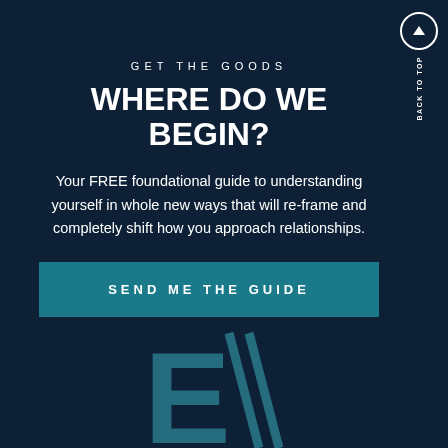GET THE GOODS
WHERE DO WE BEGIN?
Your FREE foundational guide to understanding yourself in whole new ways that will re-frame and completely shift how you approach relationships.
SEND ME THE GUIDE
[Figure (logo): Stylized letter E with diagonal slash marks forming a partial logo at the bottom of the page in teal/blue color on dark navy background]